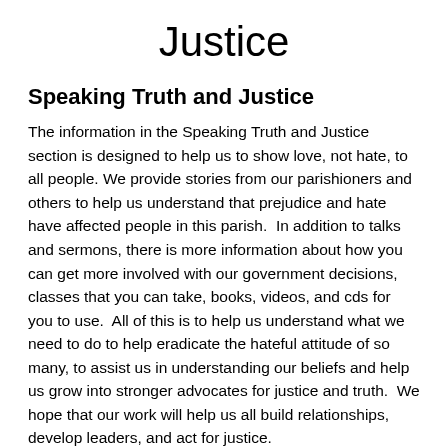Justice
Speaking Truth and Justice
The information in the Speaking Truth and Justice section is designed to help us to show love, not hate, to all people. We provide stories from our parishioners and others to help us understand that prejudice and hate have affected people in this parish.  In addition to talks and sermons, there is more information about how you can get more involved with our government decisions, classes that you can take, books, videos, and cds for you to use.  All of this is to help us understand what we need to do to help eradicate the hateful attitude of so many, to assist us in understanding our beliefs and help us grow into stronger advocates for justice and truth.  We hope that our work will help us all build relationships, develop leaders, and act for justice.